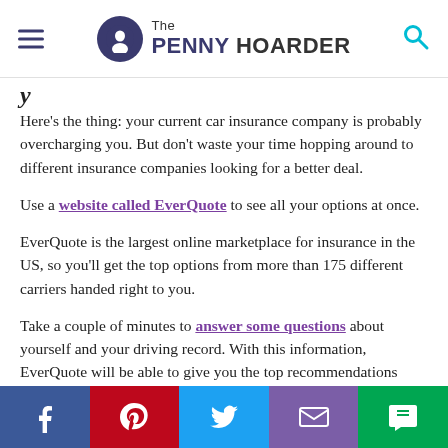The PENNY HOARDER
y
Here's the thing: your current car insurance company is probably overcharging you. But don't waste your time hopping around to different insurance companies looking for a better deal.
Use a website called EverQuote to see all your options at once.
EverQuote is the largest online marketplace for insurance in the US, so you'll get the top options from more than 175 different carriers handed right to you.
Take a couple of minutes to answer some questions about yourself and your driving record. With this information, EverQuote will be able to give you the top recommendations
Facebook Pinterest Twitter Email Message